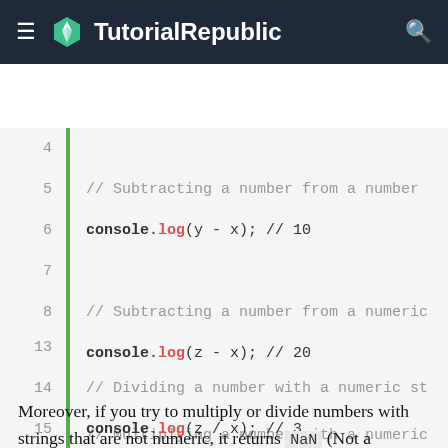TutorialRepublic
[Figure (screenshot): Code block showing JavaScript arithmetic operations: lines 4-15 with console.log statements for subtraction, multiplication, and division with numeric strings]
Moreover, if you try to multiply or divide numbers with strings that are not numeric, it returns NaN (Not a Number). Also, if you use NaN in a mathematical operation, the result will also be NaN.